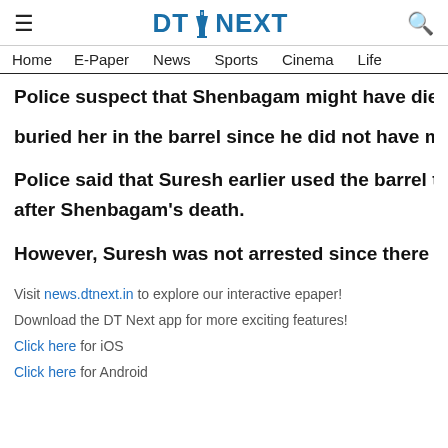DT NEXT
Home   E-Paper   News   Sports   Cinema   Life
Police suspect that Shenbagam might have died at least two weeks ago and buried her in the barrel since he did not have money to carry out the last rites.
Police said that Suresh earlier used the barrel to store water and disposed of it after Shenbagam's death.
However, Suresh was not arrested since there was no suspicion on him.
Visit news.dtnext.in to explore our interactive epaper!
Download the DT Next app for more exciting features!
Click here for iOS
Click here for Android